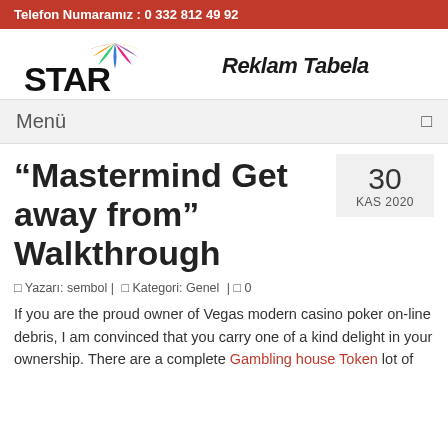Telefon Numaramız : 0 332 812 49 92
[Figure (logo): STAR Reklam Tabela logo with colorful feather/leaf graphic above the STAR text]
Menü
“Mastermind Get away from” Walkthrough
30 KAS 2020
□ Yazarı: sembol |  □ Kategori: Genel  |  □ 0
If you are the proud owner of Vegas modern casino poker on-line debris, I am convinced that you carry one of a kind delight in your ownership. There are a complete Gambling house Token lot of